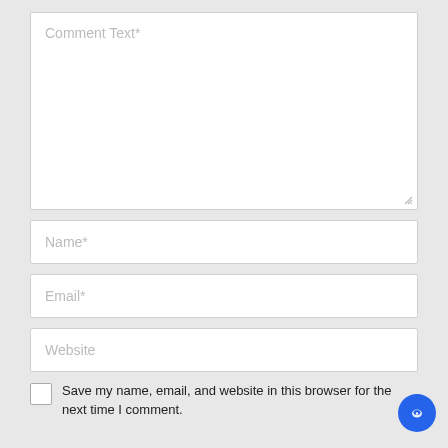[Figure (screenshot): Comment form textarea with placeholder 'Comment Text*', a resize handle at bottom right]
[Figure (screenshot): Name input field with placeholder 'Name*']
[Figure (screenshot): Email input field with placeholder 'Email*']
[Figure (screenshot): Website input field with placeholder 'Website']
Save my name, email, and website in this browser for the next time I comment.